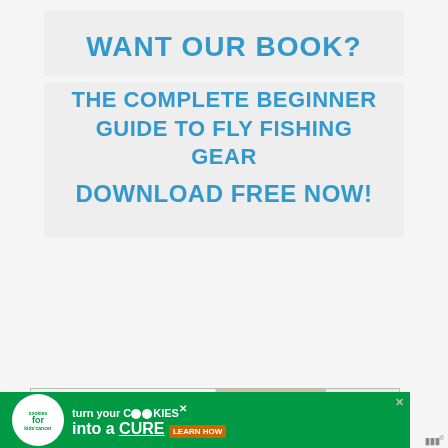WANT OUR BOOK?
THE COMPLETE BEGINNER GUIDE TO FLY FISHING GEAR
DOWNLOAD FREE NOW!
[Figure (infographic): Operation Gratitude advertisement banner showing healthcare workers holding cards with 'Thank you!' text and American flag pencil on the left, and the Operation Gratitude logo on the right]
[Figure (infographic): Cookies for Kids' Cancer advertisement: green banner with white circle logo on left, text 'turn your COOKIES into a CURE LEARN HOW' with cookie imagery]